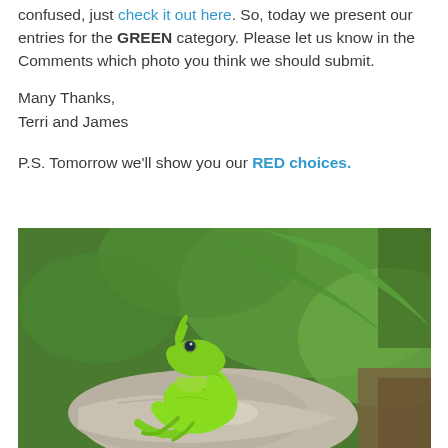confused, just check it out here. So, today we present our entries for the GREEN category. Please let us know in the Comments which photo you think we should submit.
Many Thanks,
Terri and James
P.S. Tomorrow we'll show you our RED choices.
[Figure (photo): A bright green anole lizard perched on a rock, looking upward, with large green leaves visible in the blurred background.]